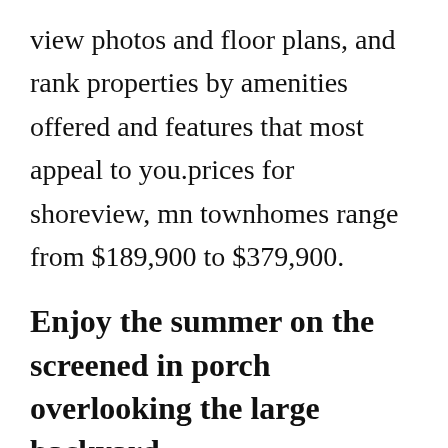view photos and floor plans, and rank properties by amenities offered and features that most appeal to you.prices for shoreview, mn townhomes range from $189,900 to $379,900.
Enjoy the summer on the screened in porch overlooking the large backyard.
Listed below is all townhomes of lake owasso real estate for sale in roseville by hex realty as well as all other real. You are